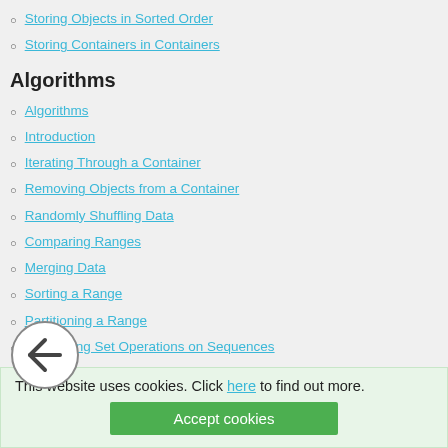Storing Objects in Sorted Order
Storing Containers in Containers
Algorithms
Algorithms
Introduction
Iterating Through a Container
Removing Objects from a Container
Randomly Shuffling Data
Comparing Ranges
Merging Data
Sorting a Range
Partitioning a Range
Performing Set Operations on Sequences
Transforming Elements in a Sequence
Writing Your Own Algorithm
Printing a Range to a Stream
Classes
Initializing Class Member Variables
This website uses cookies. Click here to find out more. Accept cookies